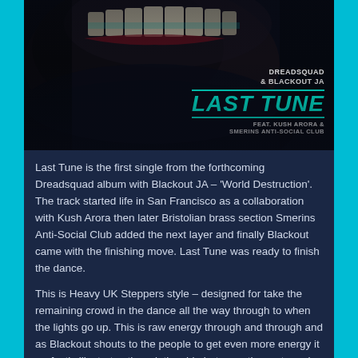[Figure (photo): Dark album cover showing a close-up of a mouth/teeth in very low light with teal/red accent. Text overlay reads: DREADSQUAD & BLACKOUT JA / LAST TUNE / FEAT. KUSH ARORA & SMERINS ANTI-SOCIAL CLUB]
Last Tune is the first single from the forthcoming Dreadsquad album with Blackout JA – 'World Destruction'. The track started life in San Francisco as a collaboration with Kush Arora then later Bristolian brass section Smerins Anti-Social Club added the next layer and finally Blackout came with the finishing move. Last Tune was ready to finish the dance.
This is Heavy UK Steppers style – designed for take the remaining crowd in the dance all the way through to when the lights go up. This is raw energy through and through and as Blackout shouts to the people to get even more energy it perfectly illustrates the relationship between the party and the selector.